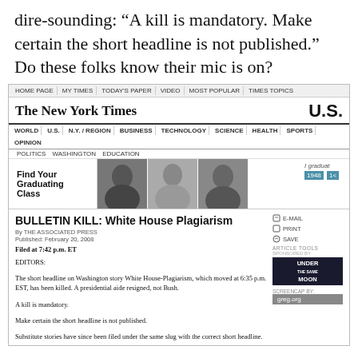dire-sounding: “A kill is mandatory. Make certain the short headline is not published.” Do these folks know their mic is on?
[Figure (screenshot): Screenshot of The New York Times U.S. section webpage showing article 'BULLETIN KILL: White House Plagiarism' by The Associated Press, Published February 20, 2008. Filed at 7:42 p.m. ET. Includes navigation bar, NYT logo, advertisement banner for 'Find Your Graduating Class', and article text about a short headline being killed.]